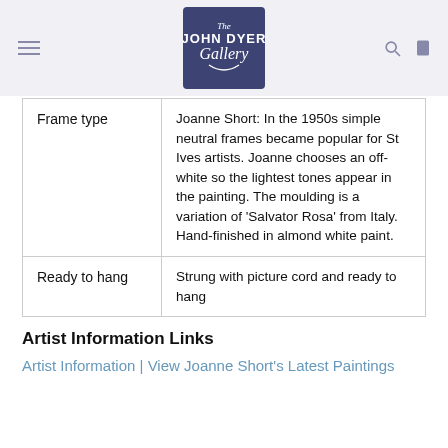The John Dyer Gallery
| Frame type | Joanne Short: In the 1950s simple neutral frames became popular for St Ives artists. Joanne chooses an off-white so the lightest tones appear in the painting. The moulding is a variation of 'Salvator Rosa' from Italy. Hand-finished in almond white paint. |
| Ready to hang | Strung with picture cord and ready to hang |
Artist Information Links
Artist Information | View Joanne Short's Latest Paintings